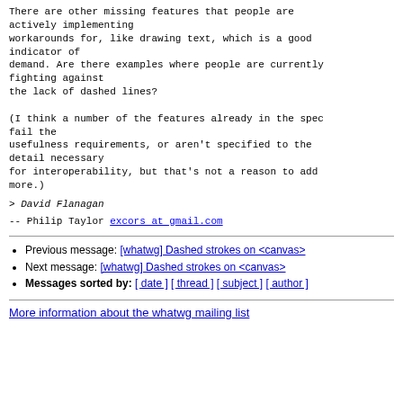There are other missing features that people are actively implementing
workarounds for, like drawing text, which is a good indicator of
demand. Are there examples where people are currently fighting against
the lack of dashed lines?

(I think a number of the features already in the spec fail the
usefulness requirements, or aren't specified to the detail necessary
for interoperability, but that's not a reason to add more.)
> David Flanagan
--
Philip Taylor
excors at gmail.com
Previous message: [whatwg] Dashed strokes on <canvas>
Next message: [whatwg] Dashed strokes on <canvas>
Messages sorted by: [ date ] [ thread ] [ subject ] [ author ]
More information about the whatwg mailing list